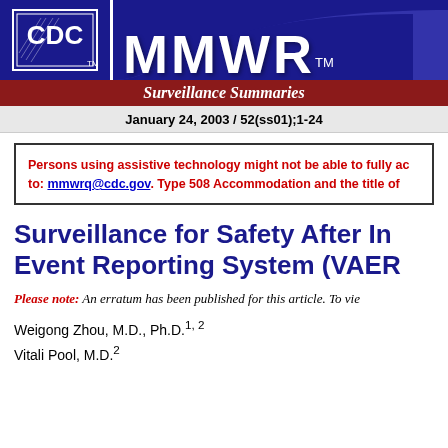[Figure (logo): CDC logo and MMWR header banner with navigation links (CDC Home, Search)]
Surveillance Summaries
January 24, 2003 / 52(ss01);1-24
Persons using assistive technology might not be able to fully ac... to: mmwrq@cdc.gov. Type 508 Accommodation and the title of...
Surveillance for Safety After In... Event Reporting System (VAER...
Please note: An erratum has been published for this article. To vie...
Weigong Zhou, M.D., Ph.D.1, 2
Vitali Pool, M.D.2